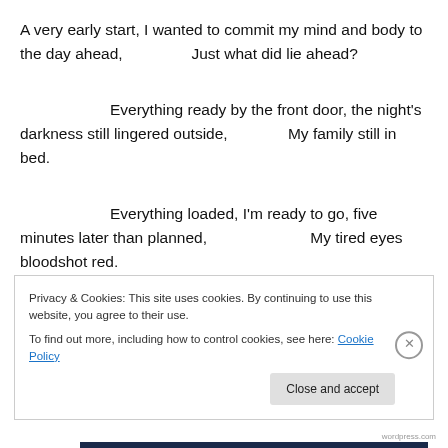A very early start, I wanted to commit my mind and body to the day ahead,                Just what did lie ahead?
Everything ready by the front door, the night's darkness still lingered outside,                My family still in bed.
Everything loaded, I'm ready to go, five minutes later than planned,                                My tired eyes bloodshot red.
Privacy & Cookies: This site uses cookies. By continuing to use this website, you agree to their use.
To find out more, including how to control cookies, see here: Cookie Policy
Close and accept